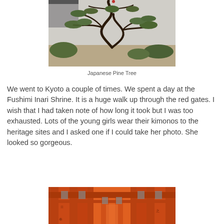[Figure (photo): A Japanese pine tree with twisted dark trunk and layered canopy branches spread over a sandy garden with trimmed shrubs]
Japanese Pine Tree
We went to Kyoto a couple of times. We spent a day at the Fushimi Inari Shrine. It is a huge walk up through the red gates. I wish that I had taken note of how long it took but I was too exhausted. Lots of the young girls wear their kimonos to the heritage sites and I asked one if I could take her photo. She looked so gorgeous.
[Figure (photo): Orange-red torii gates at Fushimi Inari Shrine with Japanese kanji characters inscribed on the pillars, seen from below looking up through the tunnel of gates]